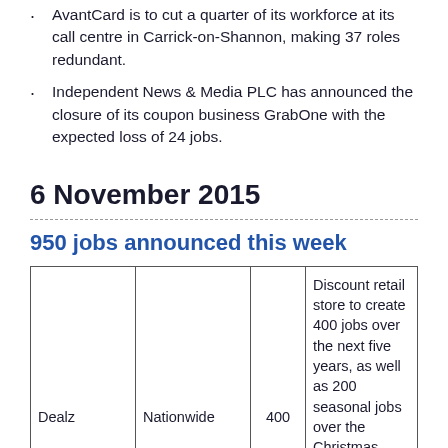AvantCard is to cut a quarter of its workforce at its call centre in Carrick-on-Shannon, making 37 roles redundant.
Independent News & Media PLC has announced the closure of its coupon business GrabOne with the expected loss of 24 jobs.
6 November 2015
950 jobs announced this week
|  |  |  |  |
| --- | --- | --- | --- |
| Dealz | Nationwide | 400 | Discount retail store to create 400 jobs over the next five years, as well as 200 seasonal jobs over the Christmas period. The retailer currently has 50 stores in Ireland. |
|  | Dublin | 160 | All-in-one website publishing platform is to expand its EMEA Headquarters in Dublin with |